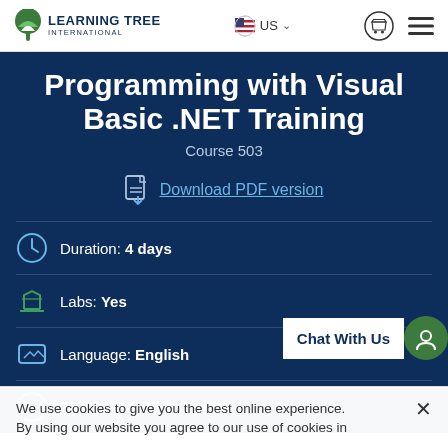Learning Tree International | US
Programming with Visual Basic .NET Training
Course 503
Download PDF version
Duration: 4 days
Labs: Yes
Language: English
23 NASBA CPE Credits
Chat With Us
We use cookies to give you the best online experience. By using our website you agree to our use of cookies in accordance with our cookie policy.